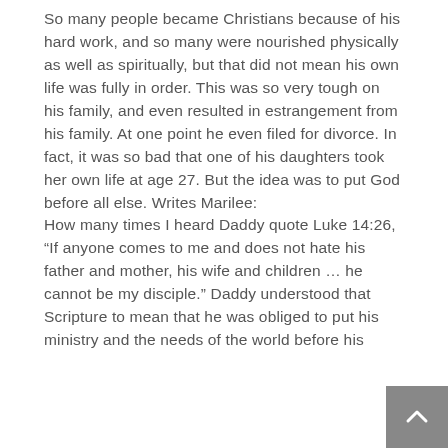So many people became Christians because of his hard work, and so many were nourished physically as well as spiritually, but that did not mean his own life was fully in order. This was so very tough on his family, and even resulted in estrangement from his family. At one point he even filed for divorce. In fact, it was so bad that one of his daughters took her own life at age 27. But the idea was to put God before all else. Writes Marilee: How many times I heard Daddy quote Luke 14:26, “If anyone comes to me and does not hate his father and mother, his wife and children … he cannot be my disciple.” Daddy understood that Scripture to mean that he was obliged to put his ministry and the needs of the world before his